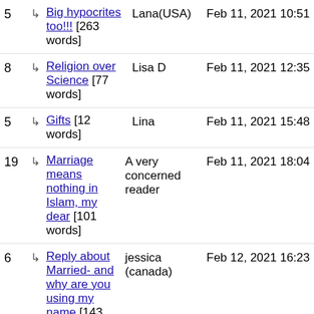5 → Big hypocrites too!!! [263 words] | Lana(USA) | Feb 11, 2021 10:51
8 → Religion over Science [77 words] | Lisa D | Feb 11, 2021 12:35
5 → Gifts [12 words] | Lina | Feb 11, 2021 15:48
19 → Marriage means nothing in Islam, my dear [101 words] | A very concerned reader | Feb 11, 2021 18:04
6 → Reply about Married- and why are you using my name [143 words] | jessica (canada) | Feb 12, 2021 16:23
13 → Islam is the worst, Muslim | Alicia | Feb 12